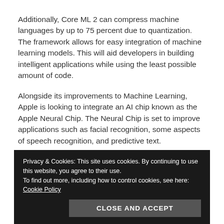Additionally, Core ML 2 can compress machine languages by up to 75 percent due to quantization. The framework allows for easy integration of machine learning models. This will aid developers in building intelligent applications while using the least possible amount of code.
Alongside its improvements to Machine Learning, Apple is looking to integrate an AI chip known as the Apple Neural Chip. The Neural Chip is set to improve applications such as facial recognition, some aspects of speech recognition, and predictive text.
Conclusion
Privacy & Cookies: This site uses cookies. By continuing to use this website, you agree to their use.
To find out more, including how to control cookies, see here: Cookie Policy
CLOSE AND ACCEPT